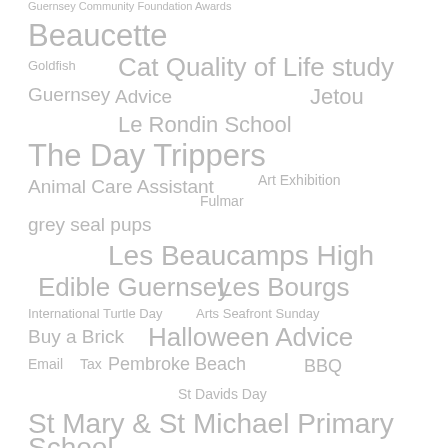[Figure (infographic): Tag cloud / word cloud containing various terms related to Guernsey community topics. Terms vary in size indicating frequency or importance. Terms include: Guernsey Community Foundation Awards, Beaucette, Goldfish, Cat Quality of Life study, Guernsey, Advice, Jetou, Le Rondin School, The Day Trippers, Animal Care Assistant, Art Exhibition, Fulmar, grey seal pups, Les Beaucamps High, Edible Guernsey, Les Bourgs, International Turtle Day, Arts Seafront Sunday, Buy a Brick, Halloween Advice, Email, Tax, Pembroke Beach, BBQ, St Davids Day, St Mary & St Michael Primary School]